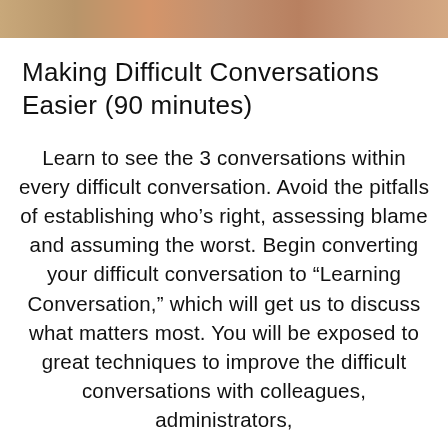[Figure (photo): Cropped photo strip at top of page, showing people in a warm-toned scene]
Making Difficult Conversations Easier (90 minutes)
Learn to see the 3 conversations within every difficult conversation. Avoid the pitfalls of establishing who’s right, assessing blame and assuming the worst. Begin converting your difficult conversation to “Learning Conversation,” which will get us to discuss what matters most. You will be exposed to great techniques to improve the difficult conversations with colleagues, administrators,